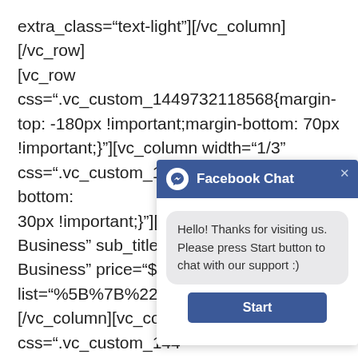extra_class="text-light"][/vc_column][/vc_row][vc_row css=".vc_custom_1449732118568{margin-top: -180px !important;margin-bottom: 70px !important;}"][vc_column width="1/3" css=".vc_custom_1449732127382{padding-bottom: 30px !important;}"][price_table title="Small Business" sub_title="T Business" price="$19 list="%5B%7B%22text [/vc_column][vc_colu css=".vc_custom_144 30px !important;}"][p sub_title="Package is list="%5B%7B%22text [/vc_column][vc_colu css=".vc_custom_144
[Figure (screenshot): Facebook Chat popup overlay with blue header showing 'f Facebook Chat' and an X close button, a gray message bubble saying 'Hello! Thanks for visiting us. Please press Start button to chat with our support :)', and a blue Start button at the bottom.]